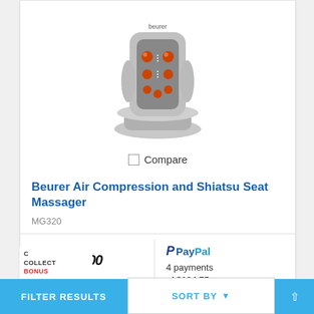[Figure (photo): Beurer Air Compression and Shiatsu Seat Massager product photo, grey massage seat cushion with orange massage nodes and beurer logo]
Compare
Beurer Air Compression and Shiatsu Seat Massager
MG320
$499.00
PayPal
4 payments of $124.75
★★★★☆ Read 5 reviews
FILTER RESULTS
SORT BY
COLLECT BONUS